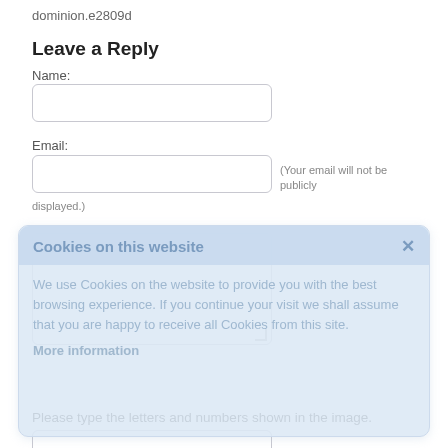dominion.e2809d
Leave a Reply
Name:
Email:
(Your email will not be publicly displayed.)
[Figure (screenshot): Cookie consent overlay with title 'Cookies on this website', close button (×), body text about cookies, and 'More information' link]
Please type the letters and numbers shown in the image.